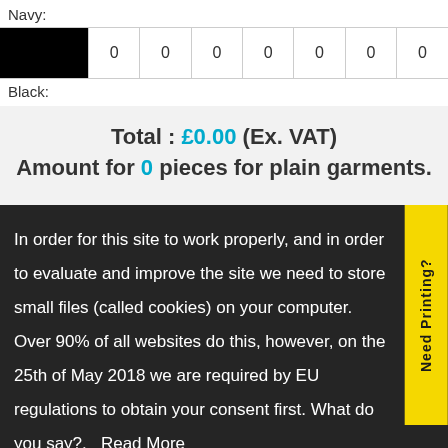Navy:
| [swatch] |  |  |  |  |  |  |  |
| --- | --- | --- | --- | --- | --- | --- | --- |
| [black swatch] | 0 | 0 | 0 | 0 | 0 | 0 | 0 |
Black:
Total : £0.00 (Ex. VAT) Amount for 0 pieces for plain garments.
In order for this site to work properly, and in order to evaluate and improve the site we need to store small files (called cookies) on your computer. Over 90% of all websites do this, however, on the 25th of May 2018 we are required by EU regulations to obtain your consent first. What do you say?. Read More